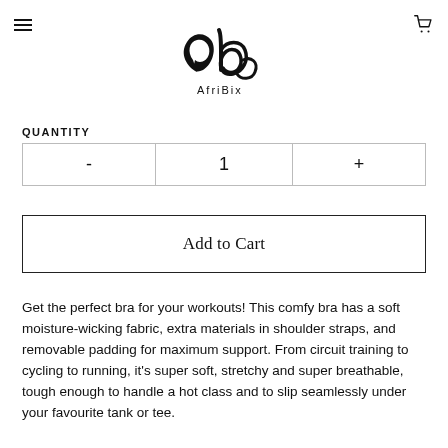[Figure (logo): AfriBix logo — stylized A3 letterform with cursive script above text 'AfriBix']
QUANTITY
| - | 1 | + |
Add to Cart
Get the perfect bra for your workouts! This comfy bra has a soft moisture-wicking fabric, extra materials in shoulder straps, and removable padding for maximum support. From circuit training to cycling to running, it's super soft, stretchy and super breathable, tough enough to handle a hot class and to slip seamlessly under your favourite tank or tee.